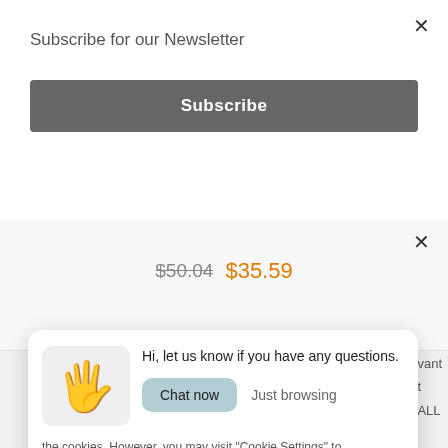Subscribe for our Newsletter
Subscribe
$50.04  $35.59
Hi, let us know if you have any questions.
Chat now
Just browsing
the cookies. However, you may visit "Cookie Settings" to
Write a message...
Cookie Settings
Accept All